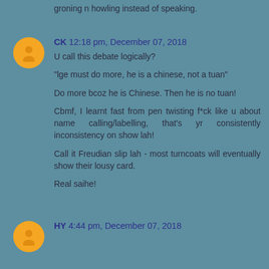groning n howling instead of speaking.
CK 12:18 pm, December 07, 2018
U call this debate logically?

"lge must do more, he is a chinese, not a tuan"

Do more bcoz he is Chinese. Then he is no tuan!

Cbmf, I learnt fast from pen twisting f*ck like u about name calling/labelling, that's yr consistently inconsistency on show lah!

Call it Freudian slip lah - most turncoats will eventually show their lousy card.

Real saihe!
HY 4:44 pm, December 07, 2018
...